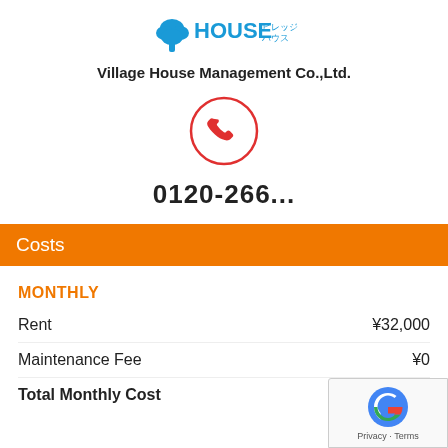[Figure (logo): Village House logo with tree icon and blue HOUSE text with Japanese characters]
Village House Management Co.,Ltd.
[Figure (illustration): Red telephone handset icon inside a red circle outline]
0120-266...
Costs
MONTHLY
|  |  |
| --- | --- |
| Rent | ¥32,000 |
| Maintenance Fee | ¥0 |
| Total Monthly Cost | ¥… |